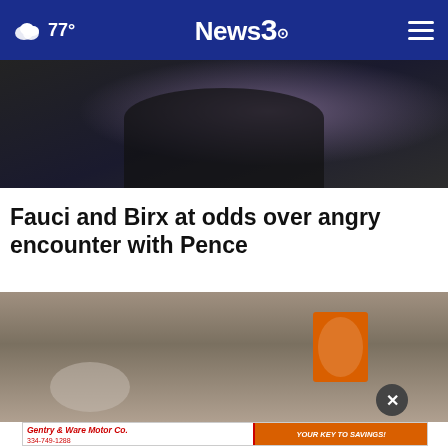77° News3
[Figure (photo): Person in dark suit, upper body photo, dimly lit]
Fauci and Birx at odds over angry encounter with Pence
[Figure (photo): Person stirring with stick in bowl, Arm & Hammer baking soda box visible]
[Figure (other): Advertisement: Gentry & Ware Motor Co. - YOUR KEY TO SAVINGS! 334-749-1288, 3906 Pepperell Pkwy Opelika, AL 36801, www.gentryandwaremotors.com]